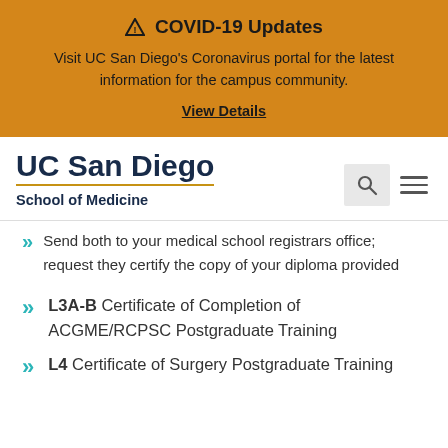⚠ COVID-19 Updates
Visit UC San Diego's Coronavirus portal for the latest information for the campus community.
View Details
UC San Diego School of Medicine
Send both to your medical school registrars office; request they certify the copy of your diploma provided
L3A-B Certificate of Completion of ACGME/RCPSC Postgraduate Training
L4 Certificate of Surgery Postgraduate Training